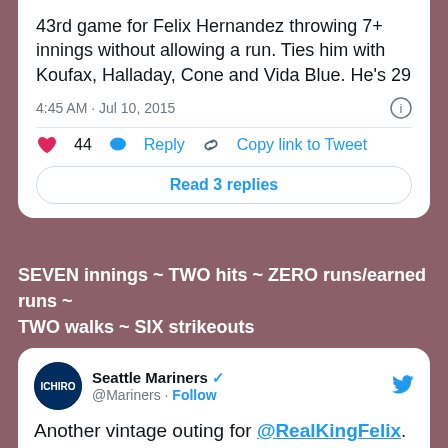43rd game for Felix Hernandez throwing 7+ innings without allowing a run. Ties him with Koufax, Halladay, Cone and Vida Blue. He's 29
4:45 AM · Jul 10, 2015
44  Reply  Copy link to Tweet
Read 3 replies
SEVEN innings ~ TWO hits ~ ZERO runs/earned runs ~ TWO walks ~ SIX strikeouts
Seattle Mariners @Mariners · Follow
Another vintage outing for @RealKingFelix. He's your choice for tonight's #MarinersPOG.